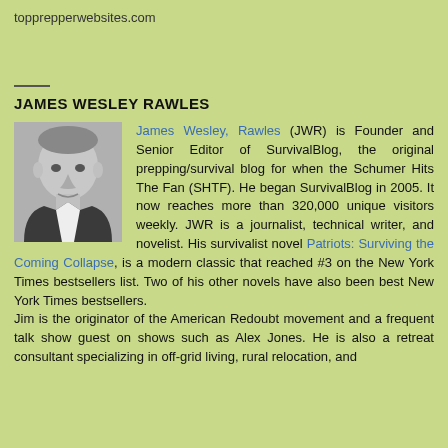topprepperwebsites.com
JAMES WESLEY RAWLES
[Figure (photo): Black and white headshot photo of James Wesley Rawles, a middle-aged man in a suit.]
James Wesley, Rawles (JWR) is Founder and Senior Editor of SurvivalBlog, the original prepping/survival blog for when the Schumer Hits The Fan (SHTF). He began SurvivalBlog in 2005. It now reaches more than 320,000 unique visitors weekly. JWR is a journalist, technical writer, and novelist. His survivalist novel Patriots: Surviving the Coming Collapse, is a modern classic that reached #3 on the New York Times bestsellers list. Two of his other novels have also been best New York Times bestsellers. Jim is the originator of the American Redoubt movement and a frequent talk show guest on shows such as Alex Jones. He is also a retreat consultant specializing in off-grid living, rural relocation, and